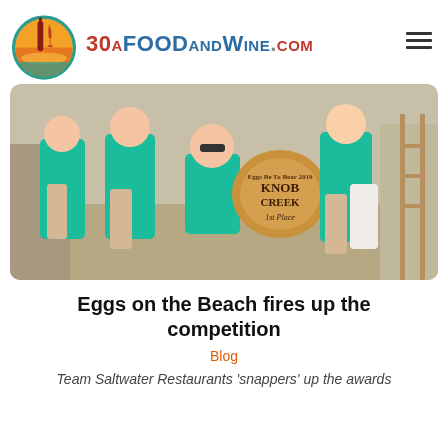30aFoodandWine.com
[Figure (photo): Group of people wearing teal/turquoise t-shirts posing outdoors at a competition event. A man in the center is kneeling and holding a round Knob Creek 1st Place award barrel sign.]
Eggs on the Beach fires up the competition
Blog
Team Saltwater Restaurants 'snappers' up the awards